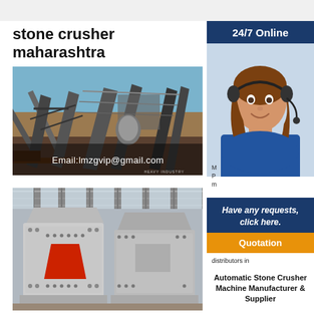stone crusher maharashtra
[Figure (photo): Large stone crusher facility with conveyor belts and industrial equipment outdoors, with text overlay 'Email:lmzgvip@gmail.com']
[Figure (photo): Industrial stone crusher machine (impact crusher) inside a factory building, grey and red colored equipment]
24/7 Online
[Figure (photo): Customer service representative woman wearing headset, smiling, in blue uniform]
Have any requests, click here.
Quotation
distributors in
Automatic Stone Crusher Machine Manufacturer & Supplier
Manjula Industries is the Top Stone...